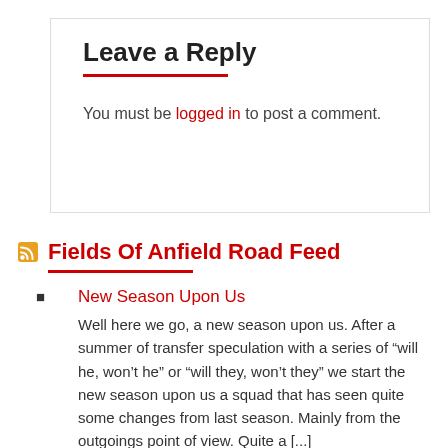Leave a Reply
You must be logged in to post a comment.
Fields Of Anfield Road Feed
New Season Upon Us
Well here we go, a new season upon us. After a summer of transfer speculation with a series of “will he, won’t he” or “will they, won’t they” we start the new season upon us a squad that has seen quite some changes from last season. Mainly from the outgoings point of view. Quite a [...]